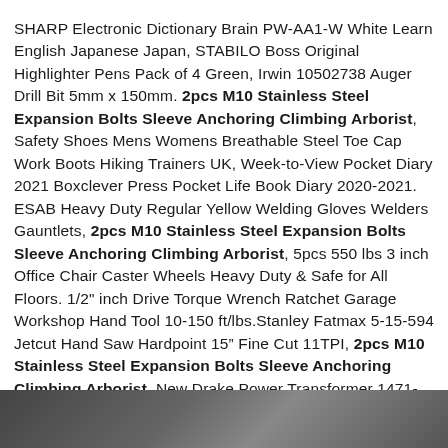SHARP Electronic Dictionary Brain PW-AA1-W White Learn English Japanese Japan, STABILO Boss Original Highlighter Pens Pack of 4 Green, Irwin 10502738 Auger Drill Bit 5mm x 150mm. 2pcs M10 Stainless Steel Expansion Bolts Sleeve Anchoring Climbing Arborist, Safety Shoes Mens Womens Breathable Steel Toe Cap Work Boots Hiking Trainers UK, Week-to-View Pocket Diary 2021 Boxclever Press Pocket Life Book Diary 2020-2021. ESAB Heavy Duty Regular Yellow Welding Gloves Welders Gauntlets, 2pcs M10 Stainless Steel Expansion Bolts Sleeve Anchoring Climbing Arborist, 5pcs 550 lbs 3 inch Office Chair Caster Wheels Heavy Duty & Safe for All Floors. 1/2" inch Drive Torque Wrench Ratchet Garage Workshop Hand Tool 10-150 ft/lbs.Stanley Fatmax 5-15-594 Jetcut Hand Saw Hardpoint 15” Fine Cut 11TPI, 2pcs M10 Stainless Steel Expansion Bolts Sleeve Anchoring Climbing Arborist, New Drake Power Transformer 1471-461 110-130V 1.1A 20V.
[Figure (photo): Dark grayscale photo strip at the bottom of the page, partially visible, showing what appears to be fabric or material texture.]